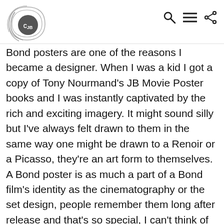CJB logo with navigation icons (search, menu, share)
Bond posters are one of the reasons I became a designer. When I was a kid I got a copy of Tony Nourmand's JB Movie Poster books and I was instantly captivated by the rich and exciting imagery. It might sound silly but I've always felt drawn to them in the same way one might be drawn to a Renoir or a Picasso, they're an art form to themselves. A Bond poster is as much a part of a Bond film's identity as the cinematography or the set design, people remember them long after release and that's so special, I can't think of any other franchise that makes such an impact with something outside of the content of the film itself, I don't even think Star Wars has that particular piece of magic. A creative need inside me to make that kind of magic is what inspired me to become a designer.